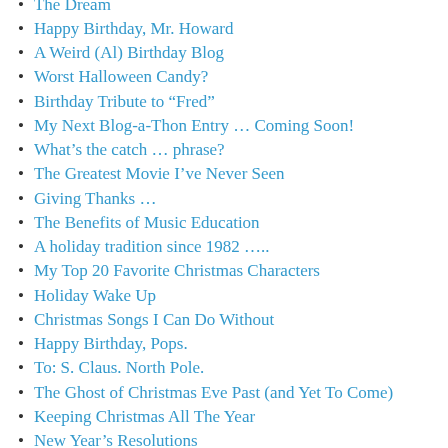The Dream
Happy Birthday, Mr. Howard
A Weird (Al) Birthday Blog
Worst Halloween Candy?
Birthday Tribute to “Fred”
My Next Blog-a-Thon Entry … Coming Soon!
What’s the catch … phrase?
The Greatest Movie I’ve Never Seen
Giving Thanks …
The Benefits of Music Education
A holiday tradition since 1982 …..
My Top 20 Favorite Christmas Characters
Holiday Wake Up
Christmas Songs I Can Do Without
Happy Birthday, Pops.
To: S. Claus. North Pole.
The Ghost of Christmas Eve Past (and Yet To Come)
Keeping Christmas All The Year
New Year’s Resolutions
Fun and Games
January 8th…
“Made in 1938”
“What’s in YOUR wallet?”
40 years of the Dukes